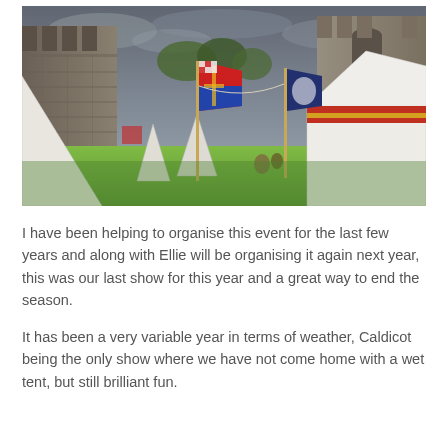[Figure (photo): Outdoor medieval reenactment scene inside castle ruins. Several white tents are set up on green grass. Two tall poles with heraldic flags (red, blue, gold, white) are visible. Castle stone walls are in the background under a cloudy grey sky. A large white marquee tent is on the right. A triangular white tent is on the left edge.]
I have been helping to organise this event for the last few years and along with Ellie will be organising it again next year, this was our last show for this year and a great way to end the season.
It has been a very variable year in terms of weather, Caldicot being the only show where we have not come home with a wet tent, but still brilliant fun.